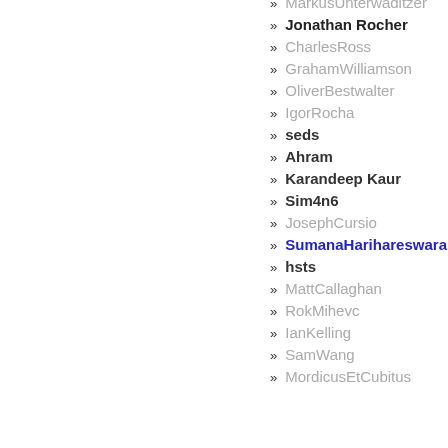MarkusUnterwaditzer
Jonathan Rocher
CharlesRoss
GrahamWilliamson
OliverBestwalter
IgorRocha
seds
Ahram
Karandeep Kaur
Sim4n6
JosephCursio
SumanaHarihareswara
hsts
MattCallaghan
RokMihevc
IanKelling
SamWang
MordicusEtCubitus